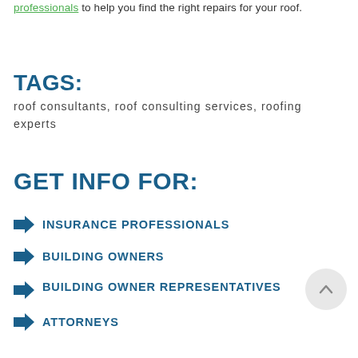professionals to help you find the right repairs for your roof.
TAGS: roof consultants, roof consulting services, roofing experts
GET INFO FOR:
INSURANCE PROFESSIONALS
BUILDING OWNERS
BUILDING OWNER REPRESENTATIVES
ATTORNEYS